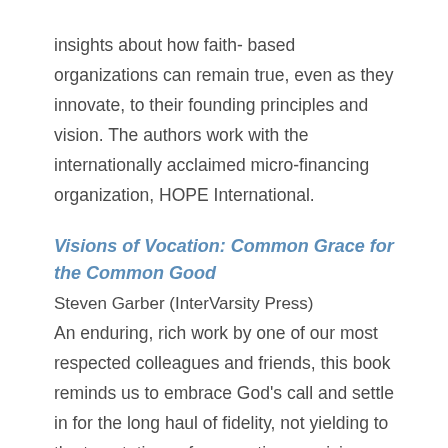insights about how faith- based organizations can remain true, even as they innovate, to their founding principles and vision. The authors work with the internationally acclaimed micro-financing organization, HOPE International.
Visions of Vocation: Common Grace for the Common Good
Steven Garber (InterVarsity Press)
An enduring, rich work by one of our most respected colleagues and friends, this book reminds us to embrace God's call and settle in for the long haul of fidelity, not yielding to the temptations of pragmatism, cynicism, or loss of passionate care.